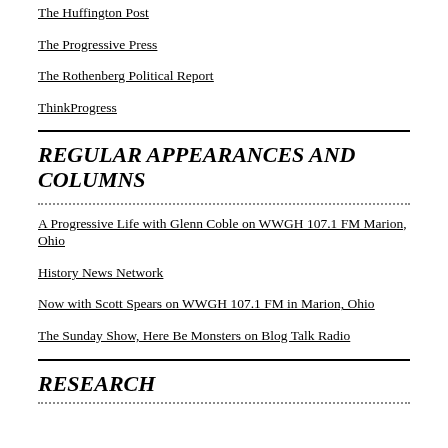The Huffington Post
The Progressive Press
The Rothenberg Political Report
ThinkProgress
REGULAR APPEARANCES AND COLUMNS
A Progressive Life with Glenn Coble on WWGH 107.1 FM Marion, Ohio
History News Network
Now with Scott Spears on WWGH 107.1 FM in Marion, Ohio
The Sunday Show, Here Be Monsters on Blog Talk Radio
RESEARCH